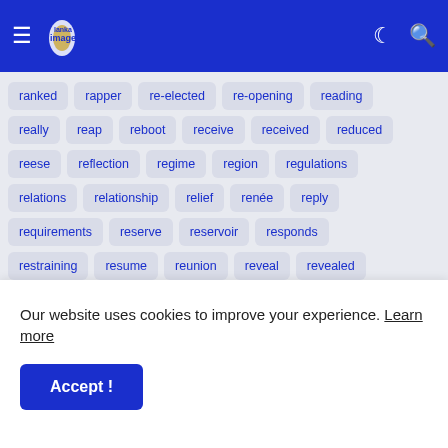Lanka Image
ranked
rapper
re-elected
re-opening
reading
really
reap
reboot
receive
received
reduced
reese
reflection
regime
region
regulations
relations
relationship
relief
renée
reply
requirements
reserve
reservoir
responds
restraining
resume
reunion
reveal
revealed
revelations
revenue
revised
revive
reynolds
rings
rippon
rishad
road
roadman
rocks
Our website uses cookies to improve your experience. Learn more